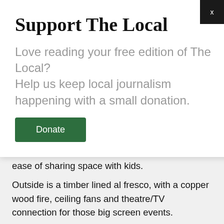Support The Local
Love reading your free edition of The Local?
Help us keep local journalism happening with a small donation.
Donate
ease of sharing space with kids.
Outside is a timber lined al fresco, with a copper wood fire, ceiling fans and theatre/TV connection for those big screen events.
Complete with a well-protected rear yard with fence line gardens and a central water feature, this 792m2 contemporary property is ideal for those with a growing family and all on style or location just minutes from 2